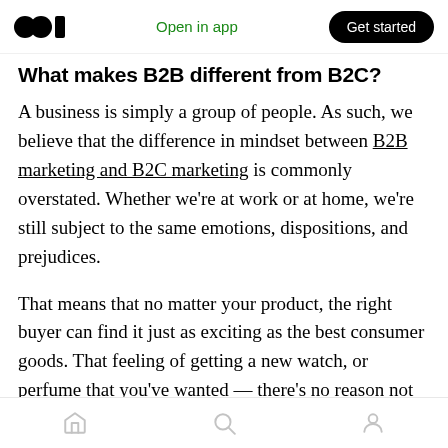Medium app header with logo, Open in app link, and Get started button
What makes B2B different from B2C?
A business is simply a group of people. As such, we believe that the difference in mindset between B2B marketing and B2C marketing is commonly overstated. Whether we're at work or at home, we're still subject to the same emotions, dispositions, and prejudices.
That means that no matter your product, the right buyer can find it just as exciting as the best consumer goods. That feeling of getting a new watch, or perfume that you've wanted — there's no reason not to shoot for it in the B2B
Bottom navigation bar with home, search, and profile icons